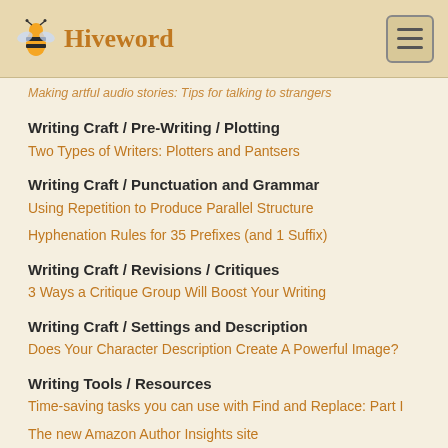Hiveword
Making artful audio stories: Tips for talking to strangers
Writing Craft / Pre-Writing / Plotting
Two Types of Writers: Plotters and Pantsers
Writing Craft / Punctuation and Grammar
Using Repetition to Produce Parallel Structure
Hyphenation Rules for 35 Prefixes (and 1 Suffix)
Writing Craft / Revisions / Critiques
3 Ways a Critique Group Will Boost Your Writing
Writing Craft / Settings and Description
Does Your Character Description Create A Powerful Image?
Writing Tools / Resources
Time-saving tasks you can use with Find and Replace: Part I
The new Amazon Author Insights site